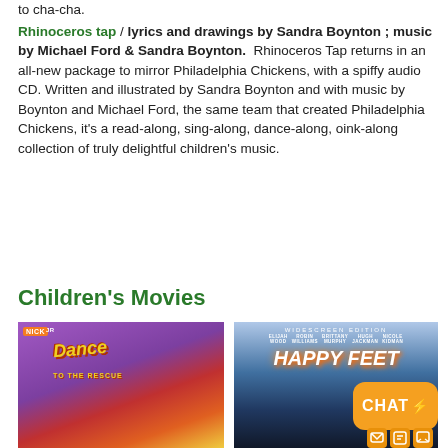to cha-cha.
Rhinoceros tap / lyrics and drawings by Sandra Boynton ; music by Michael Ford & Sandra Boynton. Rhinoceros Tap returns in an all-new package to mirror Philadelphia Chickens, with a spiffy audio CD. Written and illustrated by Sandra Boynton and with music by Boynton and Michael Ford, the same team that created Philadelphia Chickens, it's a read-along, sing-along, dance-along, oink-along collection of truly delightful children's music.
Children's Movies
[Figure (photo): DVD cover for Dora the Explorer: Dance to the Rescue on Nick Jr., showing Dora and Boots dancing with colorful background]
[Figure (photo): DVD cover for Happy Feet Widescreen Edition showing penguins, with actors Elijah Wood, Robin Williams, Brittany Murphy, Hugh Jackman, Nicole Kidman listed at top; orange chat bubble overlay in bottom right corner]